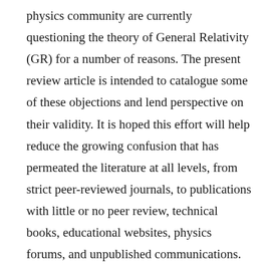physics community are currently questioning the theory of General Relativity (GR) for a number of reasons. The present review article is intended to catalogue some of these objections and lend perspective on their validity. It is hoped this effort will help reduce the growing confusion that has permeated the literature at all levels, from strict peer-reviewed journals, to publications with little or no peer review, technical books, educational websites, physics forums, and unpublished communications. Also proposed here is the hypothesis that incompleteness is the most critical flaw in the current general relativistic formalism, along with the conjecture that for some physical systems, GR offers no independent information about such observables as gravitational redshift and time dilation.